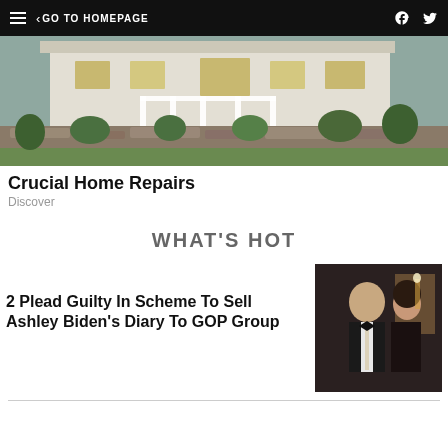GO TO HOMEPAGE
[Figure (photo): Exterior of a white house with a stone retaining wall and landscaped garden]
Crucial Home Repairs
Discover
WHAT'S HOT
2 Plead Guilty In Scheme To Sell Ashley Biden's Diary To GOP Group
[Figure (photo): An older man in a tuxedo and a young woman in a dark outfit at a formal event]